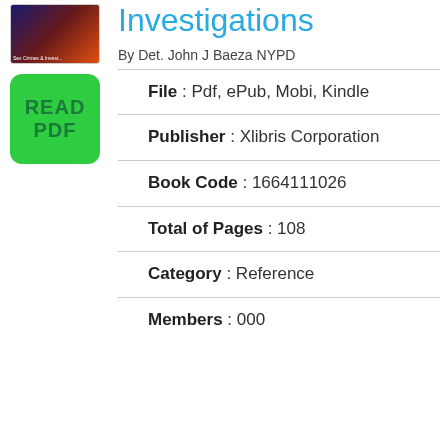[Figure (illustration): Book cover thumbnail with dark blue, red, and orange gradient colors]
[Figure (other): Green rounded rectangle button with text READ PDF]
Sex Crimes Investigations
By Det. John J Baeza NYPD
File : Pdf, ePub, Mobi, Kindle
Publisher : Xlibris Corporation
Book Code : 1664111026
Total of Pages : 108
Category : Reference